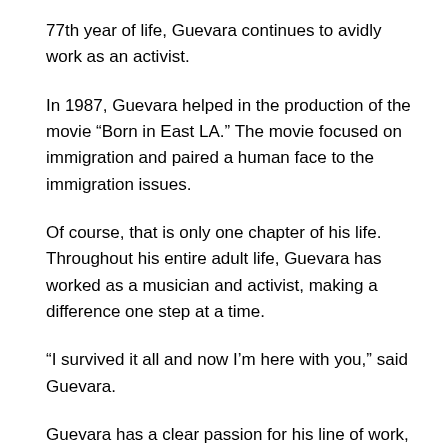77th year of life, Guevara continues to avidly work as an activist.
In 1987, Guevara helped in the production of the movie “Born in East LA.” The movie focused on immigration and paired a human face to the immigration issues.
Of course, that is only one chapter of his life. Throughout his entire adult life, Guevara has worked as a musician and activist, making a difference one step at a time.
“I survived it all and now I’m here with you,” said Guevara.
Guevara has a clear passion for his line of work, whether it’s when he is singing doo-wop music or taking a stand against social issues as an activist.